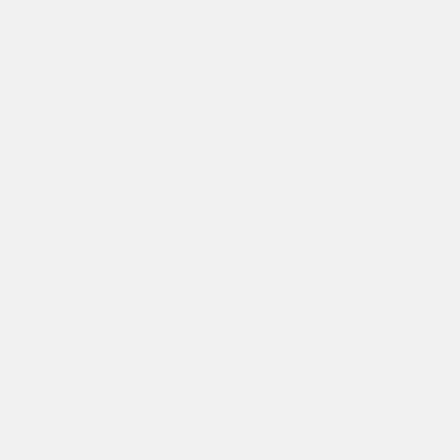digital economy. Due to the before the start of the eve exhibition that lasts for se Tuesday, instead. The Ge high-caliber Swiss Partne
For the media, next year's expected to take part in a BITKOM opening press c held exclusively for journa giving a pleasant and rela
"This new thematic thrust response to explicit wishe community, government c important trade fair for the